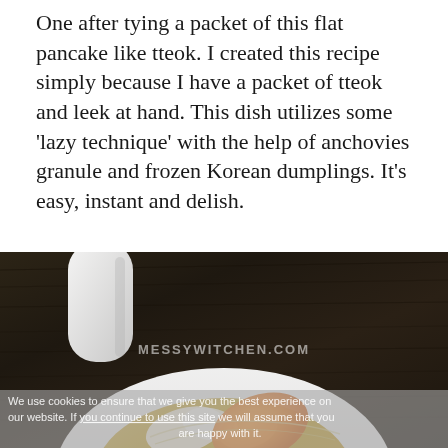One after tying a packet of this flat pancake like tteok. I created this recipe simply because I have a packet of tteok and leek at hand. This dish utilizes some 'lazy technique' with the help of anchovies granule and frozen Korean dumplings. It's easy, instant and delish.
[Figure (photo): Overhead/top-down photo of a white ceramic bowl with handle containing a golden broth soup with tteok (rice cakes) and orange-colored dumpling or food item. Dark wood table background. Watermark reads MESSYWITCHEN.COM. Cookie consent overlay at bottom.]